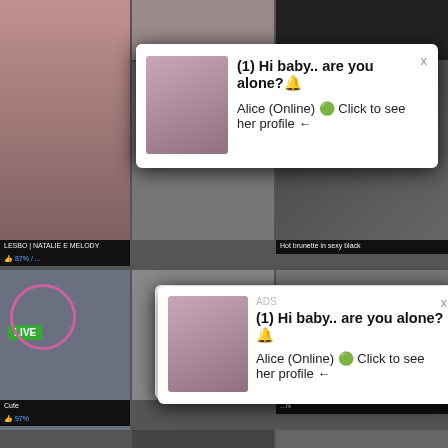[Figure (screenshot): Background adult website with video thumbnail grid showing various video previews with titles and like percentages]
[Figure (screenshot): Pop-up notification: (1) Hi baby.. are you alone? with woman photo, Alice (Online) Click to see her profile arrow]
LESBO | NATALIE E MELODY
87% /
Hot brunette in sexy black
[Figure (screenshot): Second pop-up notification: ADS label, (1) Hi baby.. are you alone? with woman photo, Alice (Online) Click to see her profile arrow, x close button]
[Figure (screenshot): Pink chat notification bubble: Angel is typing ... (1) unread message with X close button]
LIVE
Cute
97
[Figure (screenshot): Missed call notification: ADS, (1)Missed Call from Eliza, pleeease call me back.. I miss you!, audio player with progress bar 0:00 to 3:23, playback controls rewind/play/fast-forward]
N